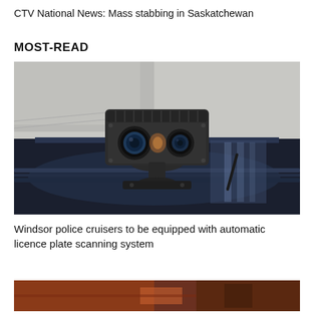CTV National News: Mass stabbing in Saskatchewan
MOST-READ
[Figure (photo): Close-up photo of an automatic licence plate recognition (ALPR) camera mounted on the roof of a police cruiser. The device is a dark grey rectangular unit with two camera lenses visible at the front, mounted on a rotating base on top of a shiny dark blue vehicle.]
Windsor police cruisers to be equipped with automatic licence plate scanning system
[Figure (photo): Partial view of another image at the bottom of the page, showing a red/orange toned scene, likely another news story thumbnail.]